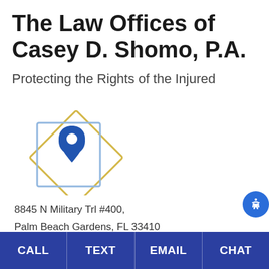The Law Offices of Casey D. Shomo, P.A.
Protecting the Rights of the Injured
[Figure (logo): Law office logo with two overlapping diamond/square shapes in light blue and gold/yellow, with a blue map pin/location marker icon in the center]
8845 N Military Trl #400,
Palm Beach Gardens, FL 33410
Maps
Phone: (561) 659-6366
Fax: (561) 659-2455
CALL | TEXT | EMAIL | CHAT